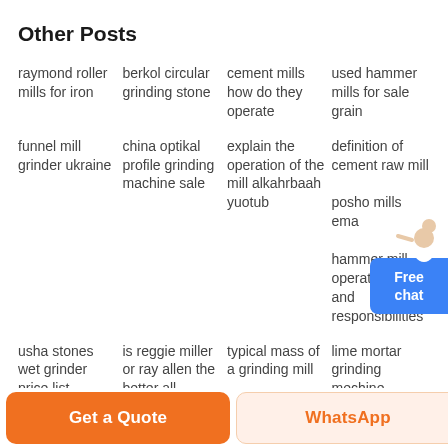Other Posts
raymond roller mills for iron
berkol circular grinding stone
cement mills how do they operate
used hammer mills for sale grain
funnel mill grinder ukraine
china optikal profile grinding machine sale
explain the operation of the mill alkahrbaah yuotub
definition of cement raw mill
posho mills ema
hammer mill operator duties and responsibilities
usha stones wet grinder price list
is reggie miller or ray allen the better all
typical mass of a grinding mill
cement mill process formula
lime mortar grinding mechine
used portable milling machine
[Figure (illustration): Free chat widget with person figure, blue button labeled Free chat]
Get a Quote
WhatsApp